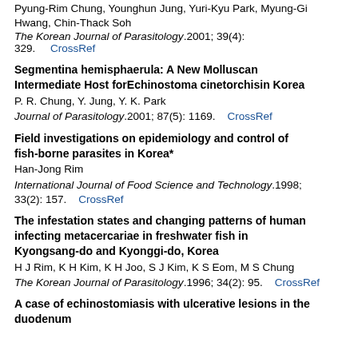Pyung-Rim Chung, Younghun Jung, Yuri-Kyu Park, Myung-Gi Hwang, Chin-Thack Soh
The Korean Journal of Parasitology.2001; 39(4): 329. CrossRef
Segmentina hemisphaerula: A New Molluscan Intermediate Host forEchinostoma cinetorchisin Korea
P. R. Chung, Y. Jung, Y. K. Park
Journal of Parasitology.2001; 87(5): 1169. CrossRef
Field investigations on epidemiology and control of fish-borne parasites in Korea*
Han-Jong Rim
International Journal of Food Science and Technology.1998; 33(2): 157. CrossRef
The infestation states and changing patterns of human infecting metacercariae in freshwater fish in Kyongsang-do and Kyonggi-do, Korea
H J Rim, K H Kim, K H Joo, S J Kim, K S Eom, M S Chung
The Korean Journal of Parasitology.1996; 34(2): 95. CrossRef
A case of echinostomiasis with ulcerative lesions in the duodenum